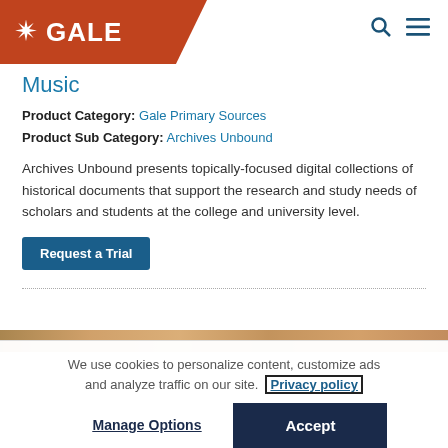[Figure (logo): Gale logo on orange banner with navigation icons]
Music
Product Category: Gale Primary Sources
Product Sub Category: Archives Unbound
Archives Unbound presents topically-focused digital collections of historical documents that support the research and study needs of scholars and students at the college and university level.
Request a Trial
[Figure (photo): Partial image strip visible at bottom of main content area]
We use cookies to personalize content, customize ads and analyze traffic on our site. Privacy policy
Manage Options  Accept